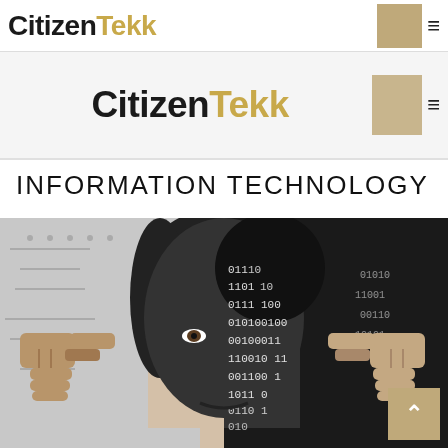CitizenTekk
CitizenTekk
INFORMATION TECHNOLOGY
[Figure (photo): Black and white photo of a woman's face split — the left half is a normal face, the right half is overlaid with binary code (0s and 1s). Robot/mechanical hands point at the subject from both sides, symbolizing the intersection of humans and information technology.]